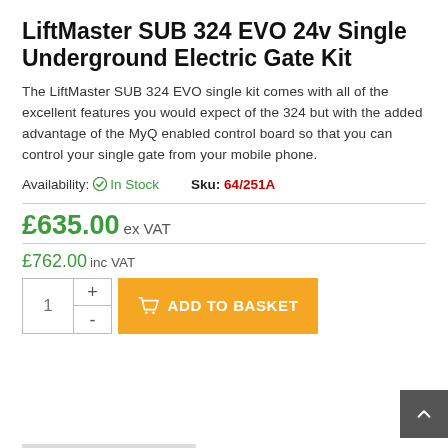LiftMaster SUB 324 EVO 24v Single Underground Electric Gate Kit
The LiftMaster SUB 324 EVO single kit comes with all of the excellent features you would expect of the 324 but with the added advantage of the MyQ enabled control board so that you can control your single gate from your mobile phone.
Availability: In Stock   Sku: 64/251A
£635.00 ex VAT
£762.00 inc VAT